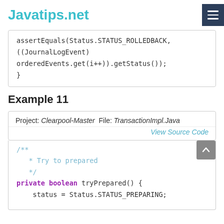Javatips.net
assertEquals(Status.STATUS_ROLLEDBACK, ((JournalLogEvent) orderedEvents.get(i++)).getStatus());
}
Example 11
Project: Clearpool-Master  File: TransactionImpl.Java
View Source Code
/**
 * Try to prepared
 */
private boolean tryPrepared() {
    status = Status.STATUS_PREPARING;